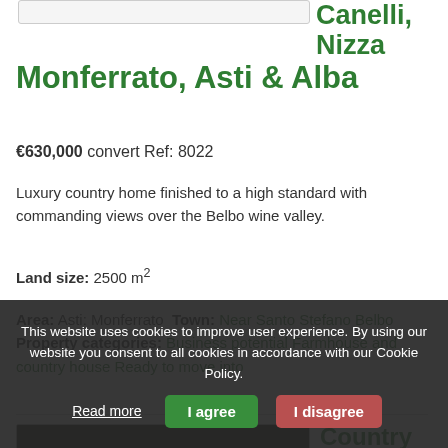[Figure (photo): Property listing thumbnail image placeholder at top]
Canelli, Nizza Monferrato, Asti & Alba
€630,000 convert Ref: 8022
Luxury country home finished to a high standard with commanding views over the Belbo wine valley.
Land size: 2500 m²
Area: Asti: Monferrato Town: Near Santo Stefano Belbo Property categories: Business potential Farmhouse and country house Ready to move into
[Figure (photo): Second property listing thumbnail image, partially visible at bottom]
Country
This website uses cookies to improve user experience. By using our website you consent to all cookies in accordance with our Cookie Policy. Read more | I agree | I disagree